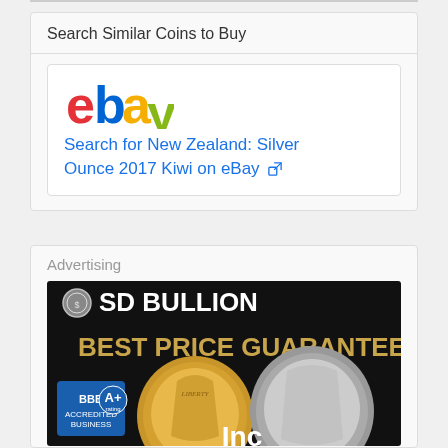Search Similar Coins to Buy
[Figure (logo): eBay logo with colorful letters]
Search for New Zealand: Silver Ounce 2017 Kiwi on eBay (external link)
Advertising
[Figure (illustration): SD Bullion advertisement banner showing gold and silver coins with text 'SD BULLION BEST PRICE GUARANTEE' and BBB A+ rating badge]